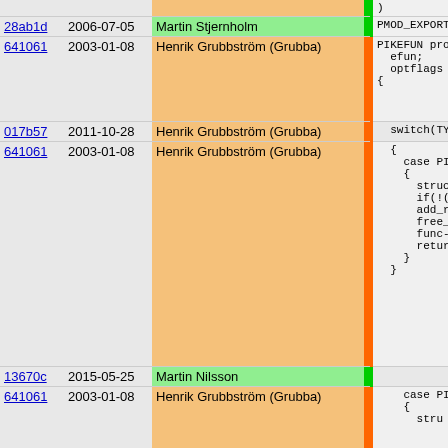| hash | date | author | code |
| --- | --- | --- | --- |
| 28ab1d | 2006-07-05 | Martin Stjernholm | PMOD_EXPORT |
| 641061 | 2003-01-08 | Henrik Grubbström (Grubba) | PIKEFUN pro
  efun;
  optflags (
{ |
| 017b57 | 2011-10-28 | Henrik Grubbström (Grubba) | switch(TYP |
| 641061 | 2003-01-08 | Henrik Grubbström (Grubba) | {
  case PIK
  {
    struct
    if(!(p
    add_re
    free_p
    func->
    return
  }
} |
| 13670c | 2015-05-25 | Martin Nilsson |  |
| 641061 | 2003-01-08 | Henrik Grubbström (Grubba) | case PIK
{
  stru |
| 017b57 | 2011-10-28 | Henrik Grubbström (Grubba) | if(S |
| 48a624 | 2003-05-31 | Martin Stjernholm | p
else
  p |